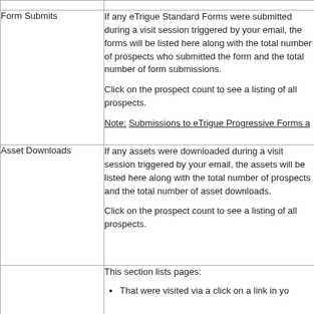|  |  |
| --- | --- |
|  |  |
| Form Submits | If any eTrigue Standard Forms were submitted during a visit session triggered by your email, the forms will be listed here along with the total number of prospects who submitted the form and the total number of form submissions.

Click on the prospect count to see a listing of all prospects.

Note: Submissions to eTrigue Progressive Forms a... |
| Asset Downloads | If any assets were downloaded during a visit session triggered by your email, the assets will be listed here along with the total number of prospects and the total number of asset downloads.

Click on the prospect count to see a listing of all pr... |
|  | This section lists pages:

• That were visited via a click on a link in yo... |